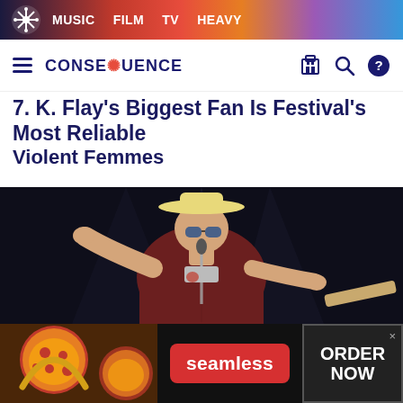MUSIC  FILM  TV  HEAVY
CONSEQUENCE
7. K. Flay's Biggest Fan Is Festival's Most Reliable
Violent Femmes
[Figure (photo): Concert photo of a male performer wearing a wide-brim hat and sunglasses, dressed in a dark red shirt, singing into a microphone with arms outstretched, playing guitar on a dark stage]
[Figure (other): Seamless food delivery advertisement showing pizza on the left, Seamless red logo button in center, and ORDER NOW button on the right with an X close button]